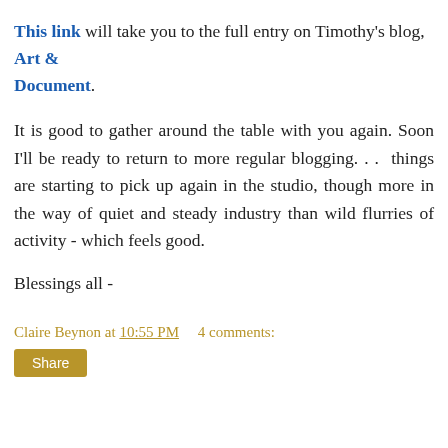This link will take you to the full entry on Timothy's blog, Art & Document.
It is good to gather around the table with you again. Soon I'll be ready to return to more regular blogging. . .  things are starting to pick up again in the studio, though more in the way of quiet and steady industry than wild flurries of activity - which feels good.
Blessings all -
Claire Beynon at 10:55 PM     4 comments:
Share